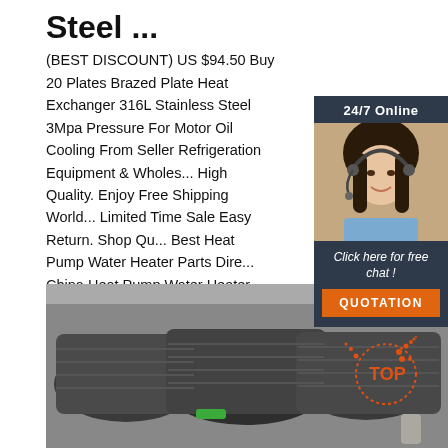Steel ...
(BEST DISCOUNT) US $94.50 Buy 20 Plates Brazed Plate Heat Exchanger 316L Stainless Steel 3Mpa Pressure For Motor Oil Cooling From Seller Refrigeration Equipment & Wholes... High Quality. Enjoy Free Shipping World... Limited Time Sale Easy Return. Shop Qu... Best Heat Pump Water Heater Parts Dire... China Heat Pump Water Heater Parts Su...
[Figure (other): Customer service chat widget with 24/7 Online label, woman with headset, Click here for free chat!, and QUOTATION button]
[Figure (photo): Photo of stacked coils of dark steel wire/strap in a warehouse setting]
[Figure (other): TOP badge/watermark in orange on lower right of photo]